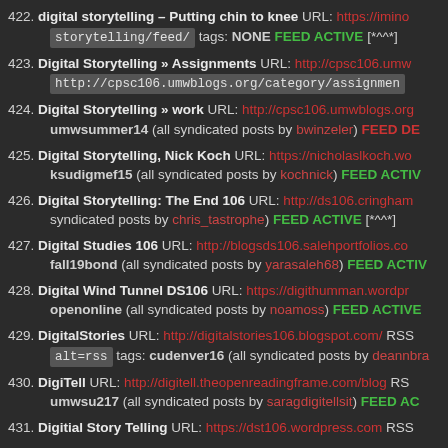422. digital storytelling – Putting chin to knee URL: https://imino...storytelling/feed/ tags: NONE FEED ACTIVE [*^^*]
423. Digital Storytelling » Assignments URL: http://cpsc106.umw... http://cpsc106.umwblogs.org/category/assignmen...
424. Digital Storytelling » work URL: http://cpsc106.umwblogs.org... umwsummer14 (all syndicated posts by bwinzeler) FEED DE...
425. Digital Storytelling, Nick Koch URL: https://nicholaslkoch.wo... ksudigmef15 (all syndicated posts by kochnick) FEED ACTIV...
426. Digital Storytelling: The End 106 URL: http://ds106.cringham... syndicated posts by chris_tastrophe) FEED ACTIVE [*^^*]
427. Digital Studies 106 URL: http://blogsds106.salehportfolios.co... fall19bond (all syndicated posts by yarasaleh68) FEED ACTIV...
428. Digital Wind Tunnel DS106 URL: https://digithumman.wordpr... openonline (all syndicated posts by noamoss) FEED ACTIVE
429. DigitalStories URL: http://digitalstories106.blogspot.com/ RSS... alt=rss tags: cudenver16 (all syndicated posts by deannbra...
430. DigiTell URL: http://digitell.theopenreadingframe.com/blog RS... umwsu217 (all syndicated posts by saragdigitellsit) FEED AC...
431. Digitial Story Telling URL: https://dst106.wordpress.com RSS...